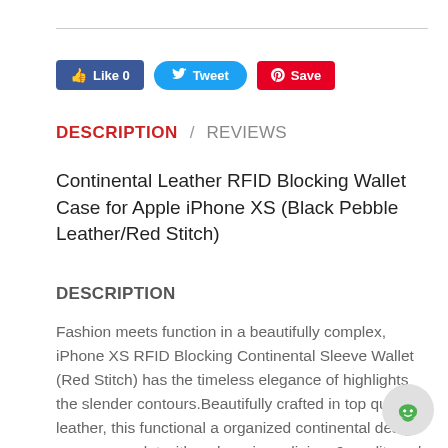[Figure (screenshot): Social sharing buttons: Facebook Like (0), Twitter Tweet, Pinterest Save]
DESCRIPTION / REVIEWS
Continental Leather RFID Blocking Wallet Case for Apple iPhone XS (Black Pebble Leather/Red Stitch)
DESCRIPTION
Fashion meets function in a beautifully complex, iPhone XS RFID Blocking Continental Sleeve Wallet (Red Stitch) has the timeless elegance of highlights the slender contours.Beautifully crafted in top quality leather, this functional a organized continental design comes complet with a sheer inner lining, 9 credit card slots,2 bill
[Figure (illustration): Green chat/messenger bubble icon]